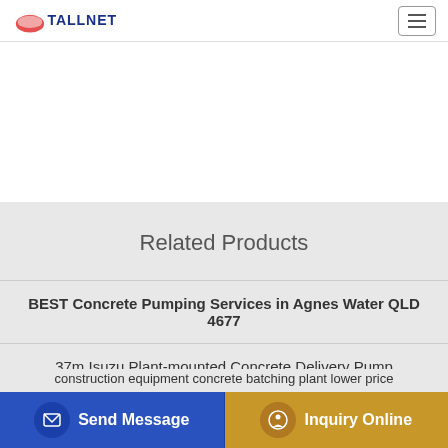TALLNET logo and menu button
Related Products
BEST Concrete Pumping Services in Agnes Water QLD 4677
37m Isuzu Plant-mounted Concrete Delivery Pump
Wil-Pump Concrete 4N181 Robbie Ln Addison IL Masonry construction equipment concrete batching plant lower price